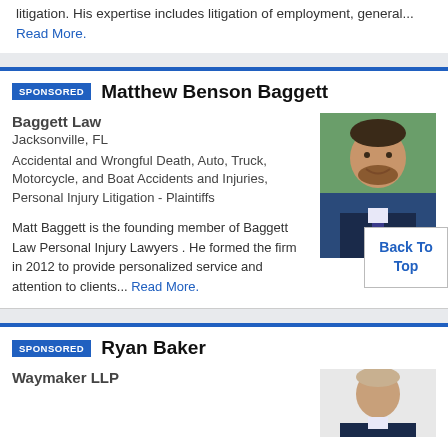litigation. His expertise includes litigation of employment, general... Read More.
SPONSORED  Matthew Benson Baggett
Baggett Law
Jacksonville, FL
Accidental and Wrongful Death, Auto, Truck, Motorcycle, and Boat Accidents and Injuries, Personal Injury Litigation - Plaintiffs
Matt Baggett is the founding member of Baggett Law Personal Injury Lawyers . He formed the firm in 2012 to provide personalized service and attention to clients... Read More.
[Figure (photo): Headshot of Matthew Benson Baggett, a man in a dark suit with striped tie, smiling, outdoor background]
Back To Top
SPONSORED  Ryan Baker
Waymaker LLP
[Figure (photo): Headshot of Ryan Baker, a man in a dark suit, partial view]